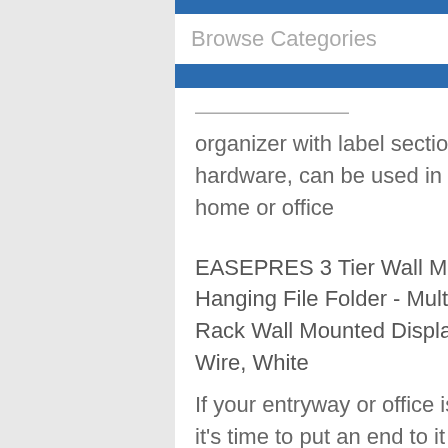Browse Categories
organizer with label section and mounting hardware, can be used in any space in your home or office
EASEPRES 3 Tier Wall Mail Organizer - Wall Hanging File Folder - Multi Purpose Magazine Rack Wall Mounted Display, Metal Chicken Wire, White
If your entryway or office is overrun with clutter, it's time to put an end to it with a piece like this. Crafted from metal chicken wire, this 3 tier